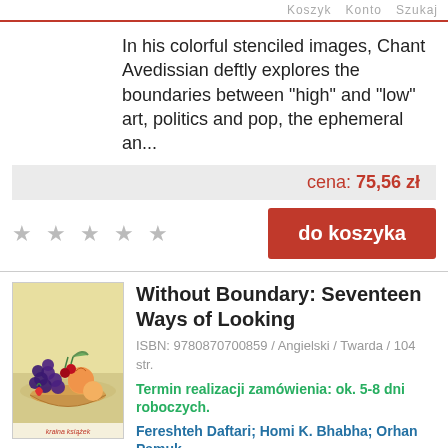Koszyk  Konto  Szukaj
In his colorful stenciled images, Chant Avedissian deftly explores the boundaries between "high" and "low" art, politics and pop, the ephemeral an...
cena: 75,56 zł
★ ★ ★ ★ ★
do koszyka
[Figure (photo): Book cover showing a fruit bowl with grapes, peaches, and cherries on a cream/yellow background, with 'kraina książek' label at the bottom]
Without Boundary: Seventeen Ways of Looking
ISBN: 9780870700859 / Angielski / Twarda / 104 str.
Termin realizacji zamówienia: ok. 5-8 dni roboczych.
Fereshteh Daftari; Homi K. Bhabha; Orhan Pamuk
The attention currently directed from